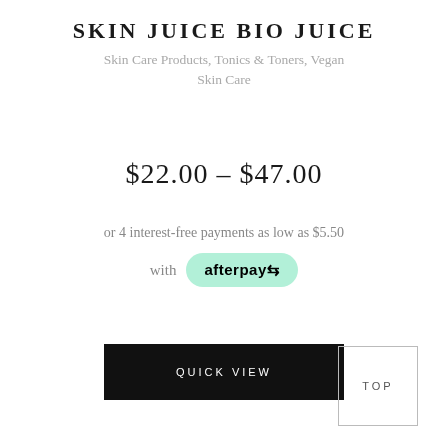SKIN JUICE BIO JUICE
Skin Care Products, Tonics & Toners, Vegan Skin Care
$22.00 – $47.00
or 4 interest-free payments as low as $5.50
[Figure (logo): Afterpay logo badge with green rounded rectangle background and afterpay text with chain link icon]
QUICK VIEW
TOP